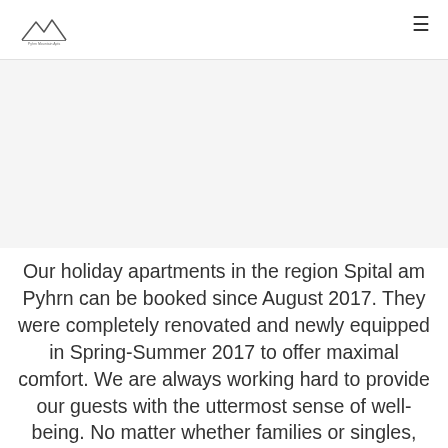[Logo: mountain/chalet icon with text] [hamburger menu icon]
[Figure (photo): Gray/white hero image area (partially visible, appears blank/light gray in this crop)]
Our holiday apartments in the region Spital am Pyhrn can be booked since August 2017. They were completely renovated and newly equipped in Spring-Summer 2017 to offer maximal comfort. We are always working hard to provide our guests with the uttermost sense of well-being. No matter whether families or singles, people seeking peace and quiet or active holidaymakers, young people or those who